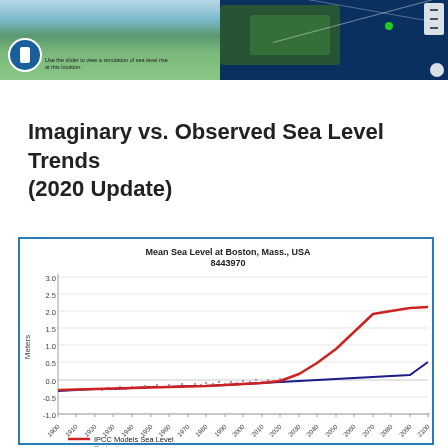[Figure (screenshot): Two side-by-side screenshots: left shows a sea level simulation tool with a circular blue icon and descriptive text; right shows a satellite/aerial map view of a coastal area with blue water]
Imaginary vs. Observed Sea Level Trends (2020 Update)
[Figure (line-chart): Mean Sea Level at Boston, Mass., USA 8443970]